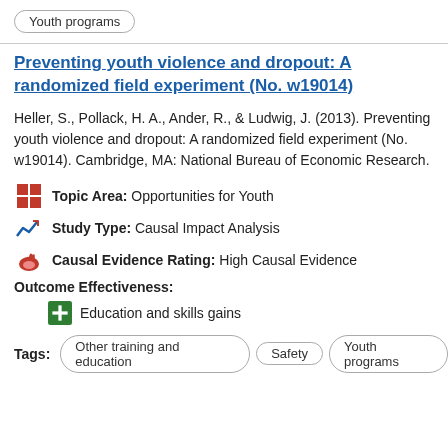Youth programs
Preventing youth violence and dropout: A randomized field experiment (No. w19014)
Heller, S., Pollack, H. A., Ander, R., & Ludwig, J. (2013). Preventing youth violence and dropout: A randomized field experiment (No. w19014). Cambridge, MA: National Bureau of Economic Research.
Topic Area: Opportunities for Youth
Study Type: Causal Impact Analysis
Causal Evidence Rating: High Causal Evidence
Outcome Effectiveness:
Education and skills gains
Tags: Other training and education | Safety | Youth programs